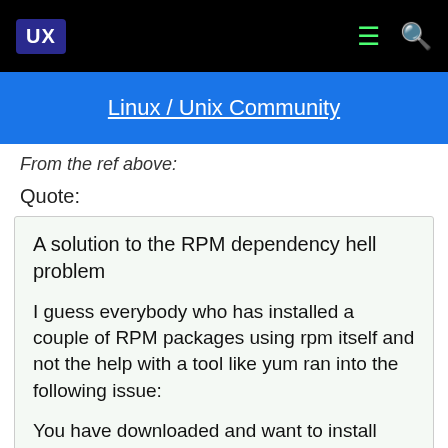UX | Linux / Unix Community
From the ref above:
Quote:
A solution to the RPM dependency hell problem

I guess everybody who has installed a couple of RPM packages using rpm itself and not the help with a tool like yum ran into the following issue:

You have downloaded and want to install RPM aaa.rpm